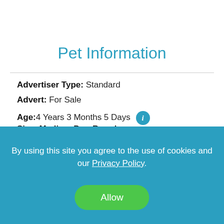Pet Information
Advertiser Type: Standard
Advert: For Sale
Age: 4 Years 3 Months 5 Days
Pet Breed: Beagle
Size: Medium Dog Breeds
By using this site you agree to the use of cookies and our Privacy Policy